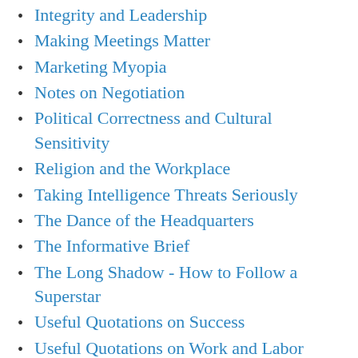Integrity and Leadership
Making Meetings Matter
Marketing Myopia
Notes on Negotiation
Political Correctness and Cultural Sensitivity
Religion and the Workplace
Taking Intelligence Threats Seriously
The Dance of the Headquarters
The Informative Brief
The Long Shadow - How to Follow a Superstar
Useful Quotations on Success
Useful Quotations on Work and Labor
Using 2x2 Tables to Choose Between Alternatives
Using the Military Decision-Making